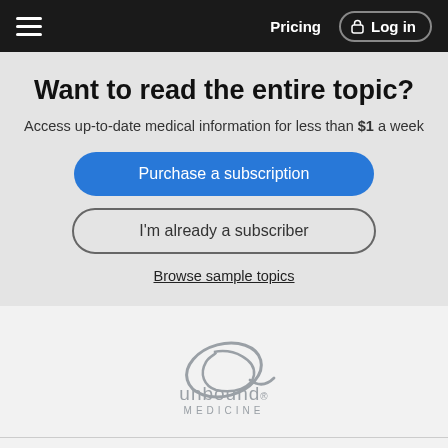Pricing  Log in
Want to read the entire topic?
Access up-to-date medical information for less than $1 a week
Purchase a subscription
I'm already a subscriber
Browse sample topics
[Figure (logo): Unbound Medicine logo — stylized oval with cursive letterform above text 'unbound MEDICINE']
Home
Contact Us